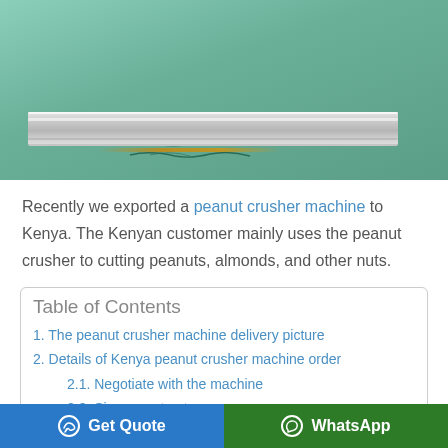[Figure (photo): Photo of a stainless steel peanut crusher machine tray/chute on a green surface, showing metallic components close up.]
Recently we exported a peanut crusher machine to Kenya. The Kenyan customer mainly uses the peanut crusher to cutting peanuts, almonds, and other nuts.
Table of Contents
1. The peanut crusher machine delivery picture
2. Details of Kenya peanut crusher machine order
2.1. Negotiate with the machine
2.2. Sign a contract
2.3. Delivery the machine
3. Why is the peanut crusher machine popular with
Get Quote   WhatsApp